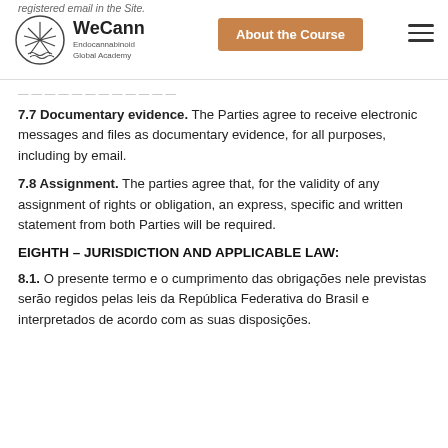registered email in the Site.
[Figure (logo): WeCann Endocannabinoid Global Academy logo with circular cannabis leaf emblem]
registered email in the Site.
7.7 Documentary evidence. The Parties agree to receive electronic messages and files as documentary evidence, for all purposes, including by email.
7.8 Assignment. The parties agree that, for the validity of any assignment of rights or obligation, an express, specific and written statement from both Parties will be required.
EIGHTH – JURISDICTION AND APPLICABLE LAW:
8.1. O presente termo e o cumprimento das obrigações nele previstas serão regidos pelas leis da República Federativa do Brasil e interpretados de acordo com as suas disposições.